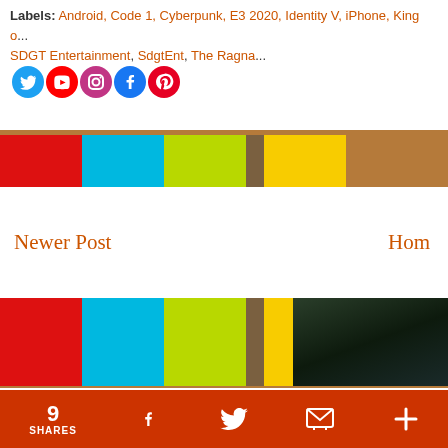Labels: Android, Code 1, Cyberpunk, E3 2020, Identity V, iPhone, King o... SDGT Entertainment, SdgtEnt, The Ragna...
[Figure (screenshot): Social media icons: Twitter (blue bird), YouTube (red play), Instagram (pink), Facebook (blue f), Pinterest (red P)]
[Figure (illustration): Decorative color bars: red, cyan, lime, tan, yellow stripes over a brown wooden background photo]
Newer Post
Hom...
[Figure (illustration): Second set of color bars over brown background, with dark object on right side]
SDGT LIVE!
[Figure (photo): Dark green/black thumbnail image on right side]
9 SHARES  [Facebook icon]  [Twitter icon]  [Email icon]  [Plus icon]